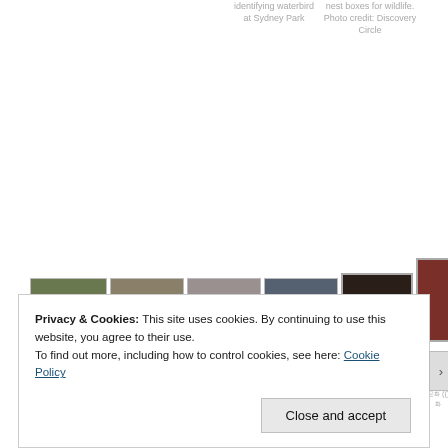identifying waterbird at Sydney Park
nest boxes for wildlife. Photo credit: Discovery Circle
[Figure (photo): Row of thumbnail images: landscape nature photo, building exterior, portrait/group photo, technology/circuit photo, dark bar/restaurant scene, orchestral performance with red dress, orchestral performance with gold dress, orchestral performance dark]
Patriotic Cultural Association in Korea (()) (Korean characters)
Patriotic Cultural Association in Korea (()) (Korean characters)
Patriotic Cultural Association in Korea (()) (Korean characters)
Patriotic Cultural Association in Korea (()) (Korean characters)
Privacy & Cookies: This site uses cookies. By continuing to use this website, you agree to their use.
To find out more, including how to control cookies, see here: Cookie Policy
Close and accept